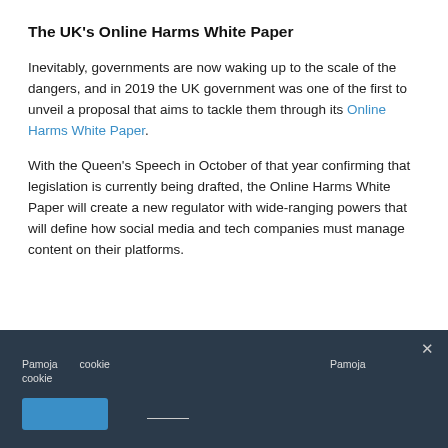The UK's Online Harms White Paper
Inevitably, governments are now waking up to the scale of the dangers, and in 2019 the UK government was one of the first to unveil a proposal that aims to tackle them through its Online Harms White Paper.
With the Queen's Speech in October of that year confirming that legislation is currently being drafted, the Online Harms White Paper will create a new regulator with wide-ranging powers that will define how social media and tech companies must manage content on their platforms.
Pamoja　cookie　　　　　　　　　　　　　　　　　　　　　Pamoja　　　　　　　　　cookie